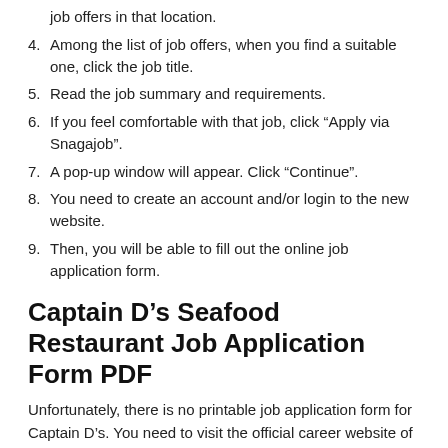job offers in that location.
4. Among the list of job offers, when you find a suitable one, click the job title.
5. Read the job summary and requirements.
6. If you feel comfortable with that job, click “Apply via Snagajob”.
7. A pop-up window will appear. Click “Continue”.
8. You need to create an account and/or login to the new website.
9. Then, you will be able to fill out the online job application form.
Captain D’s Seafood Restaurant Job Application Form PDF
Unfortunately, there is no printable job application form for Captain D’s. You need to visit the official career website of the company to make an online job application.